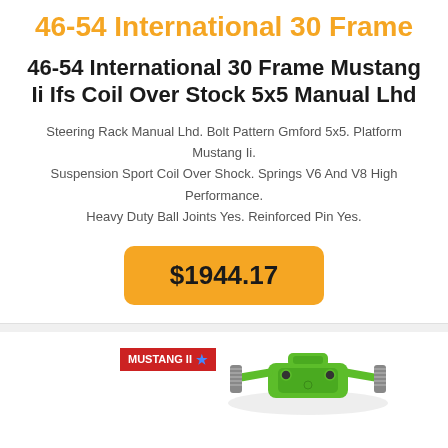46-54 International 30 Frame
46-54 International 30 Frame Mustang Ii Ifs Coil Over Stock 5x5 Manual Lhd
Steering Rack Manual Lhd. Bolt Pattern Gmford 5x5. Platform Mustang Ii. Suspension Sport Coil Over Shock. Springs V6 And V8 High Performance. Heavy Duty Ball Joints Yes. Reinforced Pin Yes.
$1944.17
[Figure (photo): Product image showing a green automotive suspension component (IFS kit) with a red Mustang II badge label in the foreground]